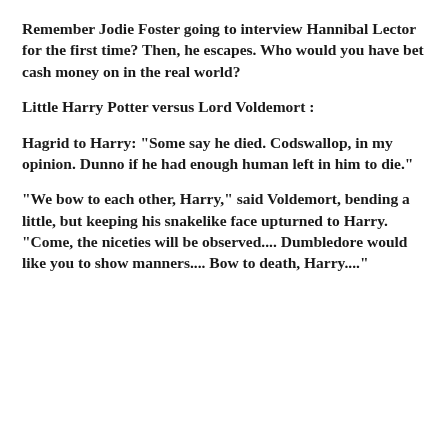Remember Jodie Foster going to interview Hannibal Lector for the first time? Then, he escapes. Who would you have bet cash money on in the real world?
Little Harry Potter versus Lord Voldemort :
Hagrid to Harry: "Some say he died. Codswallop, in my opinion. Dunno if he had enough human left in him to die."
"We bow to each other, Harry," said Voldemort, bending a little, but keeping his snakelike face upturned to Harry. "Come, the niceties will be observed.... Dumbledore would like you to show manners.... Bow to death, Harry...."